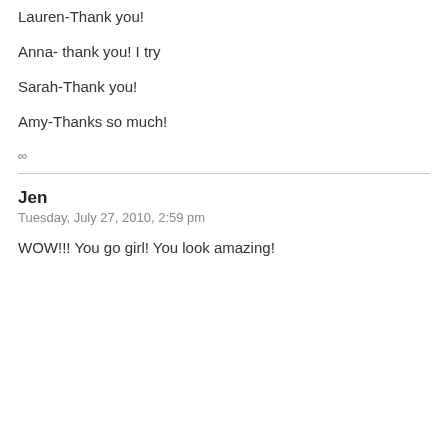Lauren-Thank you!
Anna- thank you! I try
Sarah-Thank you!
Amy-Thanks so much!
∞
Jen
Tuesday, July 27, 2010, 2:59 pm
WOW!!! You go girl! You look amazing!